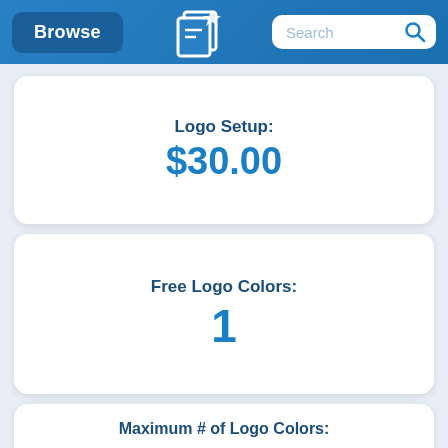Browse | [Logo] | Search
Logo Setup:
$30.00
Free Logo Colors:
1
Maximum # of Logo Colors: